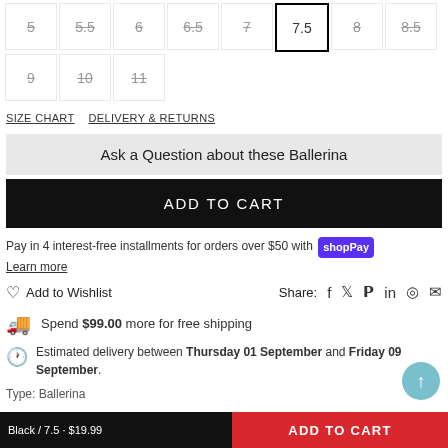Size options: 5, 5.5, 6, 6.5, 7, 7.5 (selected), 8, 8.5, 9, 10, 11
SIZE CHART   DELIVERY & RETURNS
Ask a Question about these Ballerina
ADD TO CART
Pay in 4 interest-free installments for orders over $50 with shop Pay
Learn more
Add to Wishlist
Share:
Spend $99.00 more for free shipping
Estimated delivery between Thursday 01 September and Friday 09 September.
Type: Ballerina
Black / 7.5 · $19.99
ADD TO CART